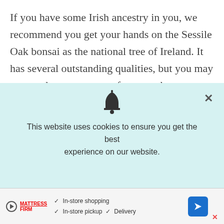If you have some Irish ancestry in you, we recommend you get your hands on the Sessile Oak bonsai as the national tree of Ireland. It has several outstanding qualities, but you may want to keep an eye out for pests that want to live in the small tree. While they can handle it in the wild, your tiny bonsai will quickly die if not protected from them.

For anyone that has a Sessile oak tree or bonsai at home, please share pics with us on any of our social
[Figure (screenshot): Cookie consent overlay with bell icon, close button (×), and text: 'This website uses cookies to ensure you get the best experience on our website.']
[Figure (screenshot): Advertisement banner for Mattress Firm showing checkmarks for In-store shopping, In-store pickup, and Delivery, with a blue navigation arrow icon on the right.]